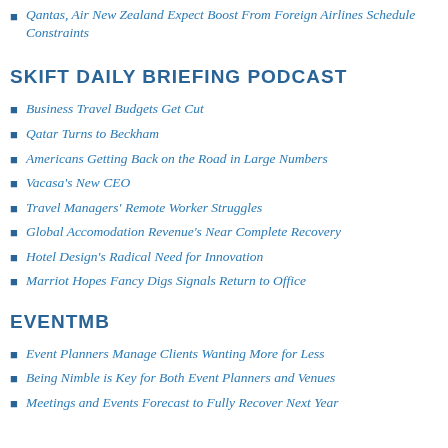Qantas, Air New Zealand Expect Boost From Foreign Airlines Schedule Constraints
SKIFT DAILY BRIEFING PODCAST
Business Travel Budgets Get Cut
Qatar Turns to Beckham
Americans Getting Back on the Road in Large Numbers
Vacasa's New CEO
Travel Managers' Remote Worker Struggles
Global Accomodation Revenue's Near Complete Recovery
Hotel Design's Radical Need for Innovation
Marriot Hopes Fancy Digs Signals Return to Office
EVENTMB
Event Planners Manage Clients Wanting More for Less
Being Nimble is Key for Both Event Planners and Venues
Meetings and Events Forecast to Fully Recover Next Year